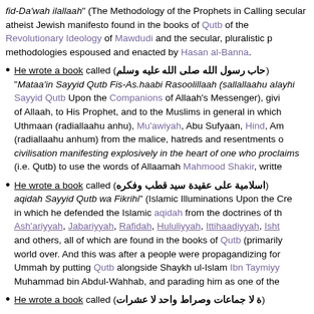fid-Da'wah ilallaah" (The Methodology of the Prophets in Calling secular atheist Jewish manifesto found in the books of Qutb of the Revolutionary Ideology of Mawdudi and the secular, pluralistic methodologies espoused and enacted by Hasan al-Banna.
He wrote a book called (حاب رسول الله صلى الله عليه وسلم) "Mataa'in Sayyid Qutb Fis-As.haabi Rasoolillaah (sallallaahu alayhi Sayyid Qutb Upon the Companions of Allaah's Messenger), giving of Allaah, to His Prophet, and to the Muslims in general in which Uthmaan (radiallaahu anhu), Mu'awiyah, Abu Sufyaan, Hind, A (radiallaahu anhum) from the malice, hatreds and resentments civilisation manifesting explosively in the heart of one who proclaims (i.e. Qutb) to use the words of Allaamah Mahmood Shakir, writte
He wrote a book called (اسلامية على عقيدة سيد قطب وفكره) aqidah Sayyid Qutb wa Fikrihi" (Islamic Illuminations Upon the Creed in which he defended the Islamic aqidah from the doctrines of the Ash'ariyyah, Jabariyyah, Rafidah, Hululiyyah, Ittihaadiyyah, Isht and others, all of which are found in the books of Qutb (primarily world over. And this was after a people were propagandizing for the Ummah by putting Qutb alongside Shaykh ul-Islam Ibn Taymiyy Muhammad bin Abdul-Wahhab, and parading him as one of the
He wrote a book called (ة لا جماعات وصراط واحد لا عشرات)